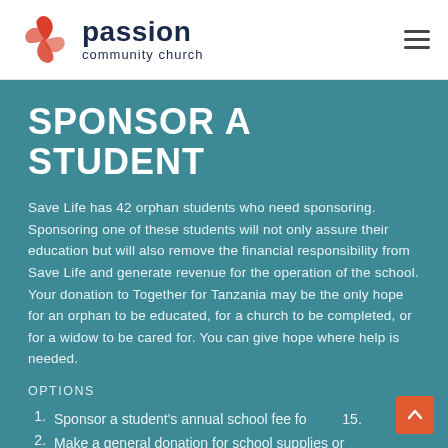passion community church
SPONSOR A STUDENT
Save Life has 42 orphan students who need sponsoring. Sponsoring one of these students will not only assure their education but will also remove the financial responsibility from Save Life and generate revenue for the operation of the school. Your donation to Together for Tanzania may be the only hope for an orphan to be educated, for a church to be completed, or for a widow to be cared for. You can give hope where help is needed.
OPTIONS
Sponsor a student's annual school fee for $15.
Make a general donation for school supplies or other student needs.